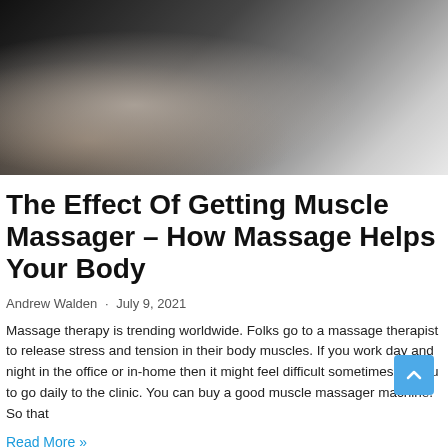[Figure (photo): Close-up photo of a hand holding a cylindrical muscle massager device, dark background with metallic/grey tones]
The Effect Of Getting Muscle Massager – How Massage Helps Your Body
Andrew Walden · July 9, 2021
Massage therapy is trending worldwide. Folks go to a massage therapist to release stress and tension in their body muscles. If you work day and night in the office or in-home then it might feel difficult sometimes for you to go daily to the clinic. You can buy a good muscle massager machine. So that
Read More »